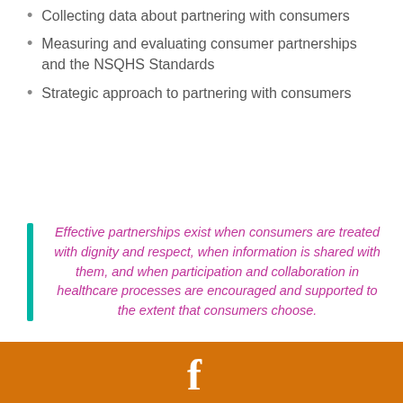Collecting data about partnering with consumers
Measuring and evaluating consumer partnerships and the NSQHS Standards
Strategic approach to partnering with consumers
Effective partnerships exist when consumers are treated with dignity and respect, when information is shared with them, and when participation and collaboration in healthcare processes are encouraged and supported to the extent that consumers choose.
[Figure (logo): Orange footer bar with white Facebook 'f' logo icon centered]